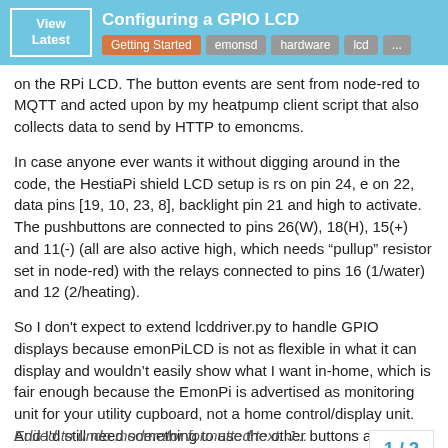Configuring a GPIO LCD | Getting Started | emonsd | hardware | lcd | ...
on the RPi LCD. The button events are sent from node-red to MQTT and acted upon by my heatpump client script that also collects data to send by HTTP to emoncms.
In case anyone ever wants it without digging around in the code, the HestiaPi shield LCD setup is rs on pin 24, e on 22, data pins [19, 10, 23, 8], backlight pin 21 and high to activate. The pushbuttons are connected to pins 26(W), 18(H), 15(+) and 11(-) (all are also active high, which needs “pullup” resistor set in node-red) with the relays connected to pins 16 (1/water) and 12 (2/heating).
So I don't expect to extend lcddriver.py to handle GPIO displays because emonPiLCD is not as flexible in what it can display and wouldn’t easily show what I want in-home, which is fair enough because the EmonPi is advertised as monitoring unit for your utility cupboard, not a home control/display unit. And I'd still need something to use the other buttons a
1 / 2
Edited to undo moderator formatted text. J...